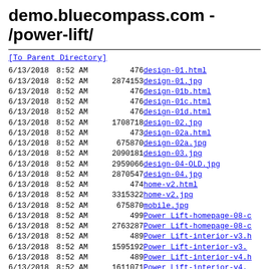demo.bluecompass.com - /power-lift/
| Date | Time | Size | Name |
| --- | --- | --- | --- |
| 6/13/2018 | 8:52 AM | 476 | design-01.html |
| 6/13/2018 | 8:52 AM | 2874153 | design-01.jpg |
| 6/13/2018 | 8:52 AM | 476 | design-01b.html |
| 6/13/2018 | 8:52 AM | 476 | design-01c.html |
| 6/13/2018 | 8:52 AM | 476 | design-01d.html |
| 6/13/2018 | 8:52 AM | 1708718 | design-02.jpg |
| 6/13/2018 | 8:52 AM | 473 | design-02a.html |
| 6/13/2018 | 8:52 AM | 675870 | design-02a.jpg |
| 6/13/2018 | 8:52 AM | 2090181 | design-03.jpg |
| 6/13/2018 | 8:52 AM | 2959066 | design-04-OLD.jpg |
| 6/13/2018 | 8:52 AM | 2870547 | design-04.jpg |
| 6/13/2018 | 8:52 AM | 474 | home-v2.html |
| 6/13/2018 | 8:52 AM | 3315322 | home-v2.jpg |
| 6/13/2018 | 8:52 AM | 675870 | mobile.jpg |
| 6/13/2018 | 8:52 AM | 499 | Power Lift-homepage-08-c |
| 6/13/2018 | 8:52 AM | 2763287 | Power Lift-homepage-08-c |
| 6/13/2018 | 8:52 AM | 489 | Power Lift-interior-v3.h |
| 6/13/2018 | 8:52 AM | 1595192 | Power Lift-interior-v3. |
| 6/13/2018 | 8:52 AM | 489 | Power Lift-interior-v4.h |
| 6/13/2018 | 8:52 AM | 1611071 | Power Lift-interior-v4. |